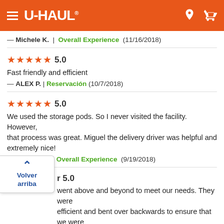U-HAUL
— Michele K. | Overall Experience (11/16/2018)
★★★★★ 5.0
Fast friendly and efficient
— ALEX P. | Reservación (10/7/2018)
★★★★★ 5.0
We used the storage pods. So I never visited the facility. However, that process was great. Miguel the delivery driver was helpful and extremely nice!
— Patrick G. | Overall Experience (9/19/2018)
r 5.0
...went above and beyond to meet our needs. They were ...ly efficient and bent over backwards to ensure that we were taken care of.